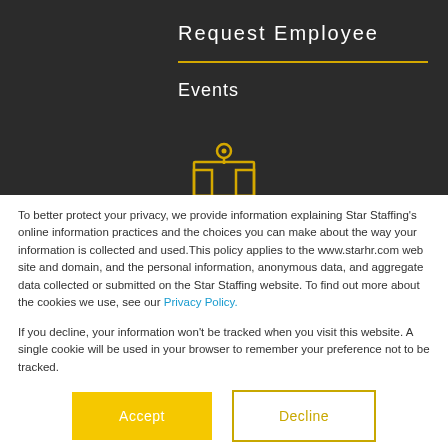Request Employee
Events
[Figure (illustration): Yellow outline icon of a building/location marker with a pin on top]
To better protect your privacy, we provide information explaining Star Staffing's online information practices and the choices you can make about the way your information is collected and used.This policy applies to the www.starhr.com web site and domain, and the personal information, anonymous data, and aggregate data collected or submitted on the Star Staffing website. To find out more about the cookies we use, see our Privacy Policy.
If you decline, your information won’t be tracked when you visit this website. A single cookie will be used in your browser to remember your preference not to be tracked.